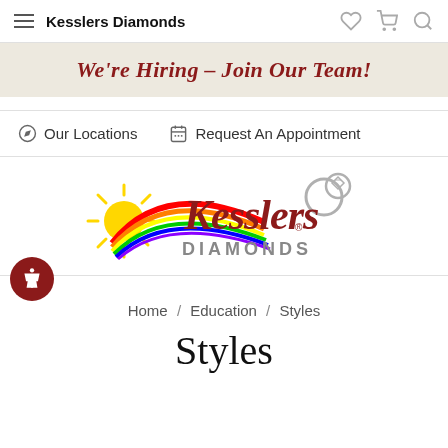Kesslers Diamonds
We're Hiring – Join Our Team!
Our Locations   Request An Appointment
[Figure (logo): Kesslers Diamonds logo: sun with rainbow and cursive Kesslers text with diamond ring graphic, DIAMONDS in gray block letters below]
Home / Education / Styles
Styles